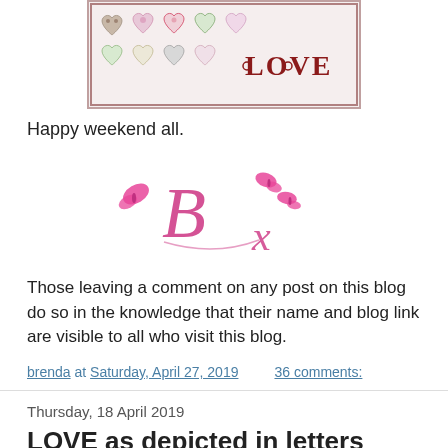[Figure (photo): A craft card showing decorative hearts in pastel colors arranged in two rows with the word LOVE in red letters on the right side]
Happy weekend all.
[Figure (illustration): A decorative pink cursive signature with butterflies reading 'B x']
Those leaving a comment on any post on this blog do so in the knowledge that their name and blog link are visible to all who visit this blog.
brenda at Saturday, April 27, 2019   36 comments:
Thursday, 18 April 2019
LOVE as depicted in letters